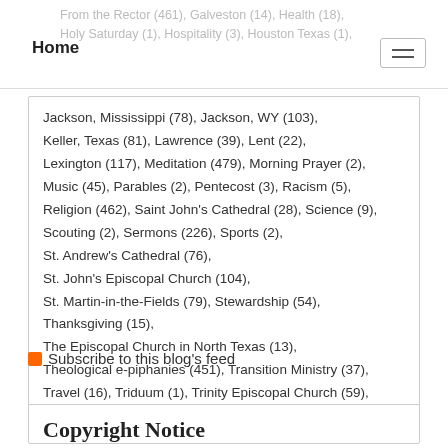Home | From the Rector (461), Galveston (14), Health (18), Holy Saturday (1), Hospitality (3), Houston Texas (1),
Jackson, Mississippi (78), Jackson, WY (103), Keller, Texas (81), Lawrence (39), Lent (22), Lexington (117), Meditation (479), Morning Prayer (2), Music (45), Parables (2), Pentecost (3), Racism (5), Religion (462), Saint John's Cathedral (28), Science (9), Scouting (2), Sermons (226), Sports (2), St. Andrew's Cathedral (76), St. John's Episcopal Church (104), St. Martin-in-the-Fields (79), Stewardship (54), Thanksgiving (15), The Episcopal Church in North Texas (13), Theological e-piphanies (451), Transition Ministry (37), Travel (16), Triduum (1), Trinity Episcopal Church (59), Trinity Sunday (2), Video e-piphanies (22), Worship (5)
Subscribe to this blog's feed
Copyright Notice